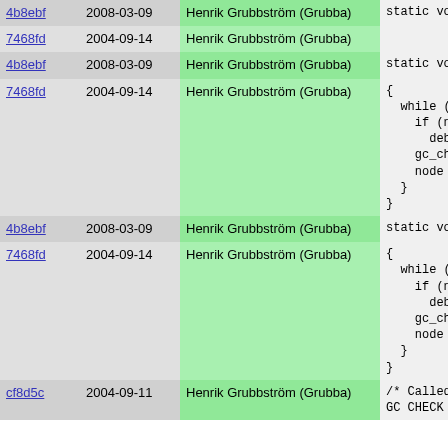| hash | date | author | code |
| --- | --- | --- | --- |
| 4b8ebf | 2008-03-09 | Henrik Grubbström (Grubba) | static vo... |
| 7468fd | 2004-09-14 | Henrik Grubbström (Grubba) |  |
| 4b8ebf | 2008-03-09 | Henrik Grubbström (Grubba) | static vo... |
| 7468fd | 2004-09-14 | Henrik Grubbström (Grubba) | {
  while (n
    if (no
      debu
    gc_che
    node =
  }
} |
| 4b8ebf | 2008-03-09 | Henrik Grubbström (Grubba) | static vo... |
| 7468fd | 2004-09-14 | Henrik Grubbström (Grubba) | {
  while (n
    if (no
      debu
    gc_che
    node =
  }
} |
| cf8d5c | 2004-09-11 | Henrik Grubbström (Grubba) | /* Called
GC CHECK |